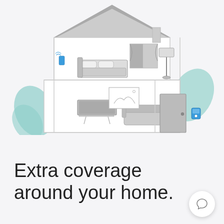[Figure (illustration): Line-art illustration of a two-story house cross-section showing smart home devices. Upper floor has a bed, window with curtains, and a blue wireless sensor on the wall. Lower floor has a TV on a stand, a sofa, a blue wireless sensor, a framed picture on the wall, and a front door with a blue smart lock/thermostat device. Teal/mint decorative leaf shapes appear on the left and right sides of the house exterior.]
Extra coverage around your home.